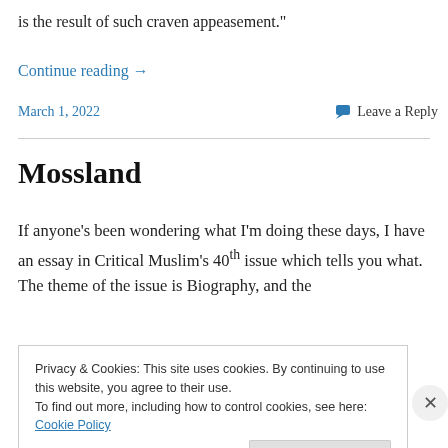is the result of such craven appeasement."
Continue reading →
March 1, 2022    Leave a Reply
Mossland
If anyone's been wondering what I'm doing these days, I have an essay in Critical Muslim's 40th issue which tells you what. The theme of the issue is Biography, and the
Privacy & Cookies: This site uses cookies. By continuing to use this website, you agree to their use.
To find out more, including how to control cookies, see here: Cookie Policy
Close and accept